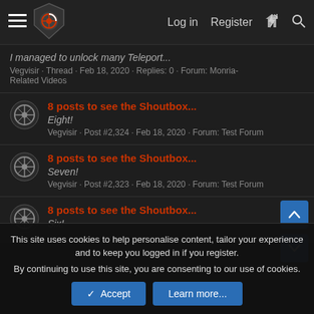Log in  Register
I managed to unlock many Teleport...
Vegvisir · Thread · Feb 18, 2020 · Replies: 0 · Forum: Monria-Related Videos
8 posts to see the Shoutbox...
Eight!
Vegvisir · Post #2,324 · Feb 18, 2020 · Forum: Test Forum
8 posts to see the Shoutbox...
Seven!
Vegvisir · Post #2,323 · Feb 18, 2020 · Forum: Test Forum
8 posts to see the Shoutbox...
Six!
This site uses cookies to help personalise content, tailor your experience and to keep you logged in if you register.
By continuing to use this site, you are consenting to our use of cookies.